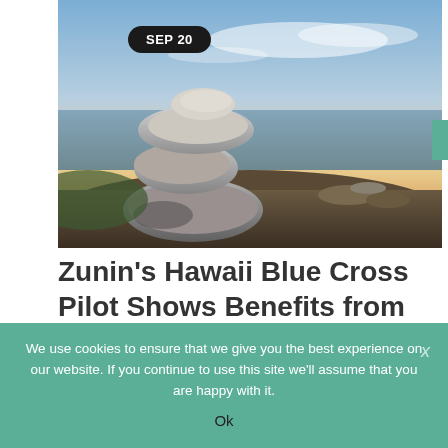[Figure (photo): Stacked zen stones on a rocky shoreline with a sunset sky and ocean in the background. A black rounded badge in the upper-left reads 'SEP 20'.]
Zunin's Hawaii Blue Cross Pilot Shows Benefits from Integrative
We use cookies to ensure that we give you the best experience on our website. If you continue to use this site we'll assume that you are happy with it.
Ok